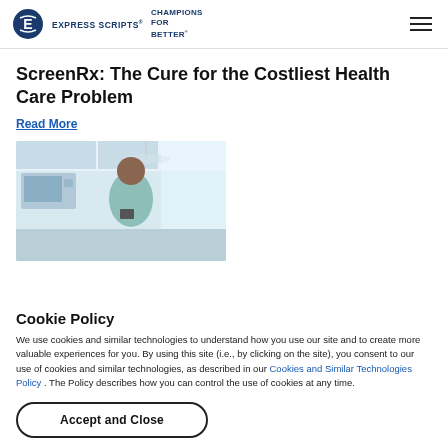EXPRESS SCRIPTS® CHAMPIONS FOR BETTER
ScreenRx: The Cure for the Costliest Health Care Problem
Read More
[Figure (photo): A man in a light blue shirt standing in a bright kitchen, looking at his phone]
Cookie Policy
We use cookies and similar technologies to understand how you use our site and to create more valuable experiences for you. By using this site (i.e., by clicking on the site), you consent to our use of cookies and similar technologies, as described in our Cookies and Similar Technologies Policy . The Policy describes how you can control the use of cookies at any time.
Accept and Close